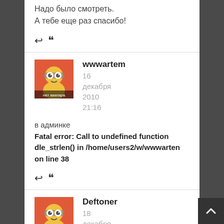Надо было смотреть.
А тебе еще раз спасибо!
↩ ❝
wwwartem
16
декабря
2010
21:16
в админке
Fatal error: Call to undefined function dle_strlen() in /home/users2/w/wwwarten on line 38
↩ ❝
Deftoner
18
декабря
2010
14:19